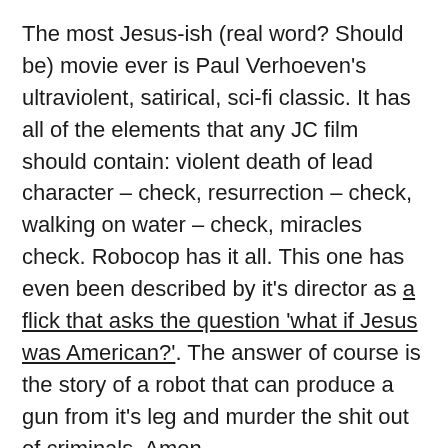The most Jesus-ish (real word? Should be) movie ever is Paul Verhoeven's ultraviolent, satirical, sci-fi classic. It has all of the elements that any JC film should contain: violent death of lead character – check, resurrection – check, walking on water – check, miracles check. Robocop has it all. This one has even been described by it's director as a flick that asks the question 'what if Jesus was American?'. The answer of course is the story of a robot that can produce a gun from it's leg and murder the shit out of criminals. Amen.
Can you think of anymore? Commando might be a bit of a stretch, but I'd go with the story of...